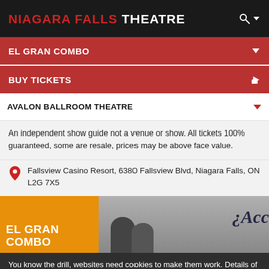NIAGARA FALLS THEATRE
EL GRAN COMBO
BUY TICKETS
AVALON BALLROOM THEATRE
An independent show guide not a venue or show. All tickets 100% guaranteed, some are resale, prices may be above face value.
Fallsview Casino Resort, 6380 Fallsview Blvd, Niagara Falls, ON L2G 7X5
[Figure (photo): Event promotional image showing El Gran Combo text on orange background with a photo of performers on stage in front of a banner reading ¿Acc]
You know the drill, websites need cookies to make them work. Details of how we do it here.
Got it!